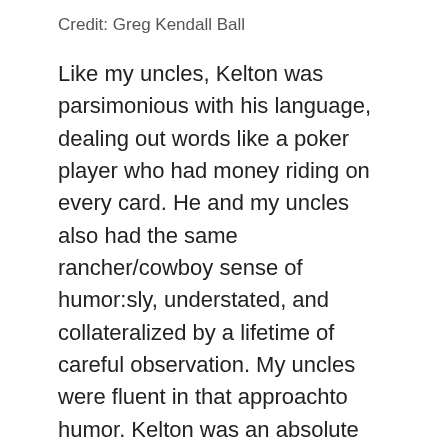Credit: Greg Kendall Ball
Like my uncles, Kelton was parsimonious with his language, dealing out words like a poker player who had money riding on every card. He and my uncles also had the same rancher/cowboy sense of humor:sly, understated, and collateralized by a lifetime of careful observation. My uncles were fluent in that approachto humor. Kelton was an absolute master of it.
Elmer and I came from the same breed of people,and our grandparents might have even known each other. Both our families ranched in the same part of West Texas and